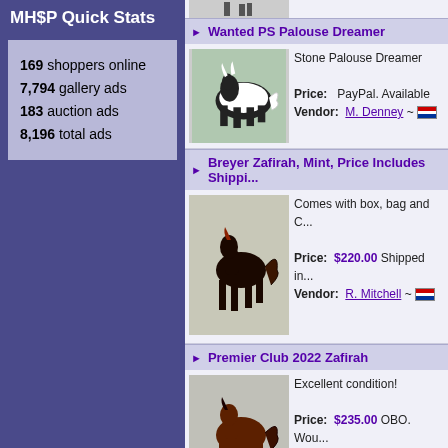MH$P Quick Stats
169 shoppers online
7,794 gallery ads
183 auction ads
8,196 total ads
Wanted PS Palouse Dreamer
[Figure (photo): Photo of a black and white pinto Stone Palouse Dreamer model horse]
Stone Palouse Dreamer
Price: PayPal. Available
Vendor: M. Denney ~
Breyer Zafirah, Mint, Price Includes Shippi...
[Figure (photo): Photo of a dark bay/black Breyer Zafirah model horse]
Comes with box, bag and C...
Price: $220.00 Shipped in...
Vendor: R. Mitchell ~
Premier Club 2022 Zafirah
[Figure (photo): Photo of a bay Breyer Zafirah Premier Club 2022 model horse]
Excellent condition!
Price: $235.00 OBO. Wou...
commission work.
Shipping: Shipping deter...
Vendor: E. Brooks ~
Breyerfest Key Chains Mods Colors
[Figure (photo): Photo of colorful Breyerfest key chains]
Price: $100.00 Money ord...
Shipping: Buyer pays shi...
Vendor: J. Raber ~